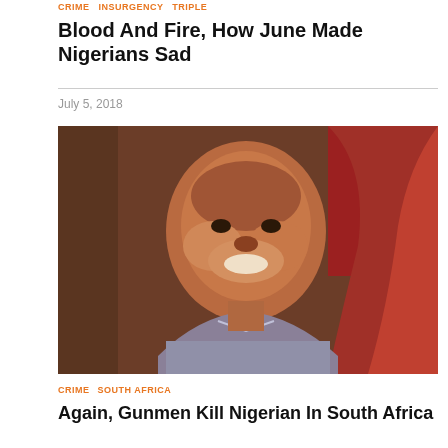CRIME  INSURGENCY  TRIPLE
Blood And Fire, How June Made Nigerians Sad
July 5, 2018
[Figure (photo): Portrait photo of a smiling Nigerian man wearing a grey/blue shirt, with a reddish curtain or background behind him. The image is slightly blurry.]
CRIME  SOUTH AFRICA
Again, Gunmen Kill Nigerian In South Africa